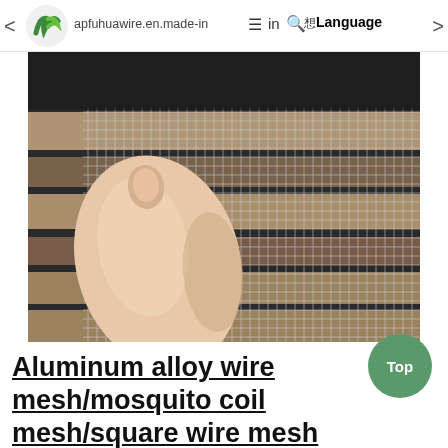< apfuhuawire.en.made-in ≡ in Q  Language >
[Figure (photo): Close-up photo of aluminum alloy wire mesh/mosquito coil mesh/square wire mesh being held by a hand, showing the fine square grid pattern of the metal mesh against a dark background with rolled mesh visible behind.]
Aluminum alloy wire mesh/mosquito coil mesh/square wire mesh